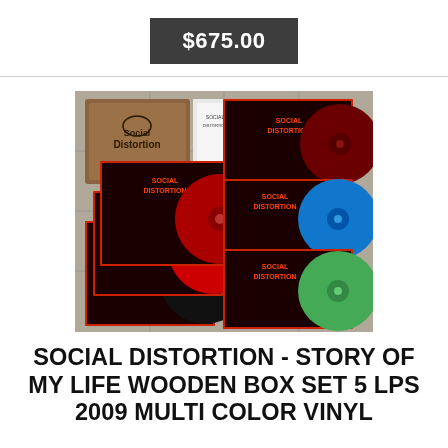$675.00
[Figure (photo): Social Distortion Story of My Life wooden box set with 5 LPs on multi-color vinyl (red, black, dark red/maroon, blue, green), album covers visible, wooden box with Social Distortion logo, displayed on a tiled floor surface.]
SOCIAL DISTORTION - STORY OF MY LIFE WOODEN BOX SET 5 LPS 2009 MULTI COLOR VINYL